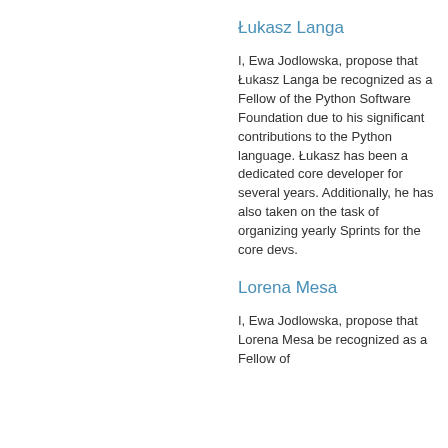Łukasz Langa
I, Ewa Jodlowska, propose that Łukasz Langa be recognized as a Fellow of the Python Software Foundation due to his significant contributions to the Python language. Łukasz has been a dedicated core developer for several years. Additionally, he has also taken on the task of organizing yearly Sprints for the core devs.
Lorena Mesa
I, Ewa Jodlowska, propose that Lorena Mesa be recognized as a Fellow of